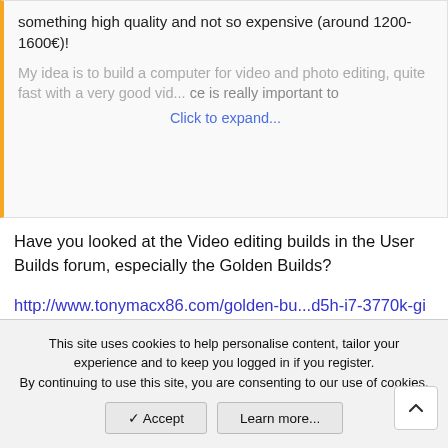something high quality and not so expensive (around 1200-1600€)!
My idea is to build a computer for video and photo editing, quite fast with a very good vid... [Click to expand...]
Have you looked at the Video editing builds in the User Builds forum, especially the Golden Builds?
http://www.tonymacx86.com/golden-bu...d5h-i7-3770k-gigabyte-geforce-gtx-660-ti.html
might be just what you are looking for.
luvax23
This site uses cookies to help personalise content, tailor your experience and to keep you logged in if you register. By continuing to use this site, you are consenting to our use of cookies.